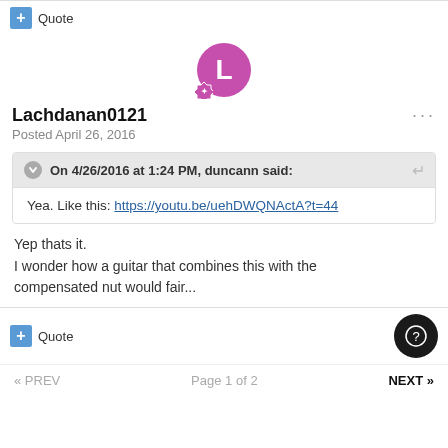+ Quote
[Figure (illustration): User avatar: purple circle with letter L and a pink badge icon]
Lachdanan0121
Posted April 26, 2016
On 4/26/2016 at 1:24 PM, duncann said:
Yea. Like this: https://youtu.be/uehDWQNActA?t=44
Yep thats it.
I wonder how a guitar that combines this with the compensated nut would fair...
+ Quote
« PREV   Page 1 of 2   NEXT »